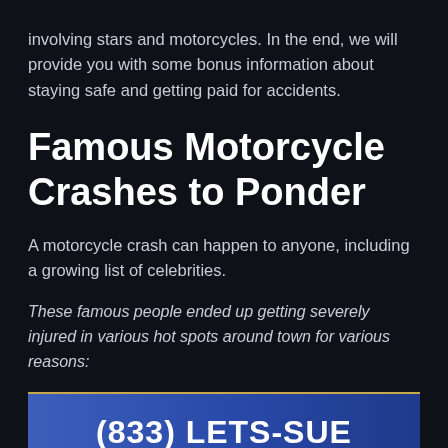involving stars and motorcycles. In the end, we will provide you with some bonus information about staying safe and getting paid for accidents.
Famous Motorcycle Crashes to Ponder
A motorcycle crash can happen to anyone, including a growing list of celebrities.
These famous people ended up getting severely injured in various hot spots around town for various reasons:
[Figure (other): Blue CTA button with gold border showing phone number (833) LETS-SUE]
A growing list of celebrity
Accident